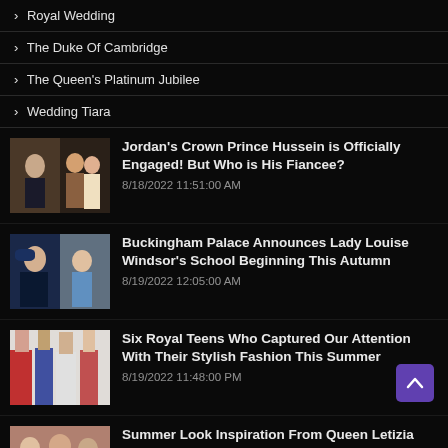› Royal Wedding
› The Duke Of Cambridge
› The Queen's Platinum Jubilee
› Wedding Tiara
Jordan's Crown Prince Hussein is Officially Engaged! But Who is His Fiancee? 8/18/2022 11:51:00 AM
Buckingham Palace Announces Lady Louise Windsor's School Beginning This Autumn 8/19/2022 12:05:00 AM
Six Royal Teens Who Captured Our Attention With Their Stylish Fashion This Summer 8/19/2022 11:48:00 PM
Summer Look Inspiration From Queen Letizia and